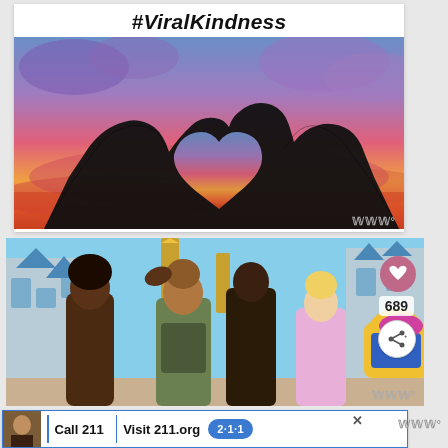[Figure (illustration): Social media post card with '#ViralKindness' hashtag text above a sunset photo of two hands forming a heart silhouette against a colorful pink, orange, and purple sky]
[Figure (photo): Photo of Disney theme park characters including Flynn Rider, Rapunzel, and Donald Duck with a guest posing in front of a castle, with heart/like and share overlay icons showing '689']
Call 211 | Visit 211.org  2·1·1